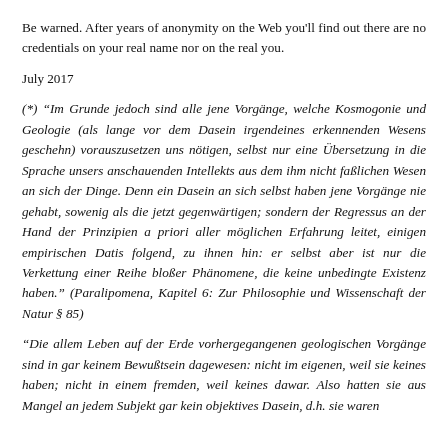Be warned. After years of anonymity on the Web you'll find out there are no credentials on your real name nor on the real you.
July 2017
(*) “Im Grunde jedoch sind alle jene Vorgänge, welche Kosmogonie und Geologie (als lange vor dem Dasein irgendeines erkennenden Wesens geschehn) vorauszusetzen uns nötigen, selbst nur eine Übersetzung in die Sprache unsers anschauenden Intellekts aus dem ihm nicht faßlichen Wesen an sich der Dinge. Denn ein Dasein an sich selbst haben jene Vorgänge nie gehabt, sowenig als die jetzt gegenwärtigen; sondern der Regressus an der Hand der Prinzipien a priori aller möglichen Erfahrung leitet, einigen empirischen Datis folgend, zu ihnen hin: er selbst aber ist nur die Verkettung einer Reihe bloßer Phänomene, die keine unbedingte Existenz haben.” (Paralipomena, Kapitel 6: Zur Philosophie und Wissenschaft der Natur § 85)
“Die allem Leben auf der Erde vorhergegangenen geologischen Vorgänge sind in gar keinem Bewußstsein dagewesen: nicht im eigenen, weil sie keines haben; nicht in einem fremden, weil keines dawar. Also hatten sie aus Mangel an jedem Subjekt gar kein objektives Dasein, d.h. sie waren…